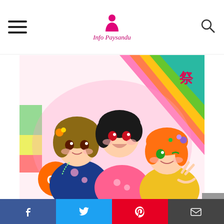Info Paysandu
[Figure (illustration): Anime illustration showing three female characters in colorful kimono/yukata outfits. Left character has brown hair with flower accessories in blue kimono. Center character has black hair with open mouth expression in pink floral outfit. Right character has orange hair with purple flower hair clip in yellow outfit doing a peace sign. An orange circle logo with 'OY' is visible in the lower left. Colorful rainbow stripe background.]
ラブライブ!μ'sマジ～ラブ1000ラブ～ vol.7
アマゾンで詳細を確認する
Amazon.co.jp